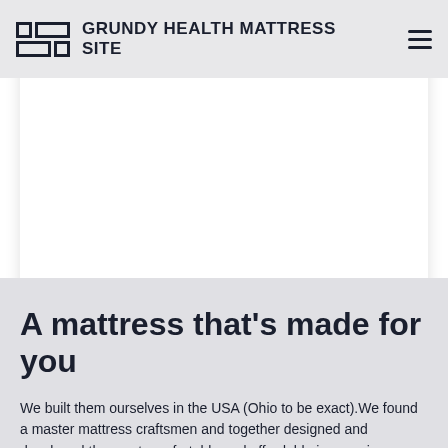GRUNDY HEALTH MATTRESS SITE
understood I needed to do something.
A mattress that's made for you
We built them ourselves in the USA (Ohio to be exact).We found a master mattress craftsmen and together designed and developed the most comfortable and affordable innerspring mattress